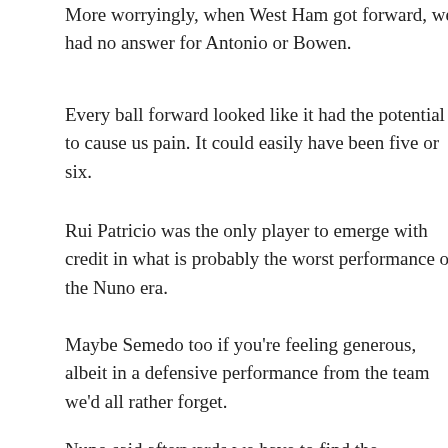More worryingly, when West Ham got forward, we had no answer for Antonio or Bowen.
Every ball forward looked like it had the potential to cause us pain. It could easily have been five or six.
Rui Patricio was the only player to emerge with credit in what is probably the worst performance of the Nuno era.
Maybe Semedo too if you're feeling generous, albeit in a defensive performance from the team we'd all rather forget.
Nuno said afterwards we have to find the